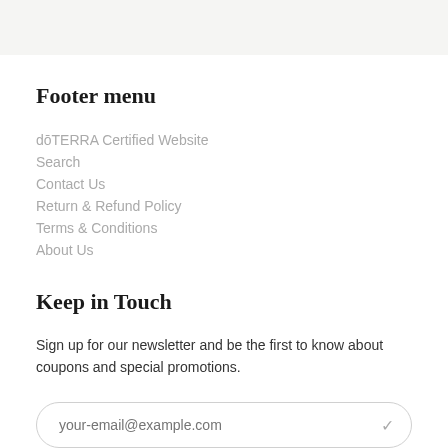Footer menu
dōTERRA Certified Website
Search
Contact Us
Return & Refund Policy
Terms & Conditions
About Us
Keep in Touch
Sign up for our newsletter and be the first to know about coupons and special promotions.
your-email@example.com